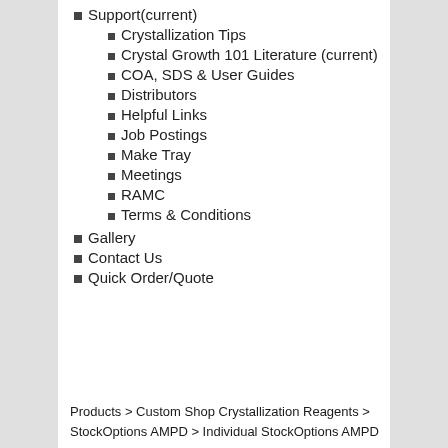Support(current)
Crystallization Tips
Crystal Growth 101 Literature (current)
COA, SDS & User Guides
Distributors
Helpful Links
Job Postings
Make Tray
Meetings
RAMC
Terms & Conditions
Gallery
Contact Us
Quick Order/Quote
Products > Custom Shop Crystallization Reagents > StockOptions AMPD > Individual StockOptions AMPD